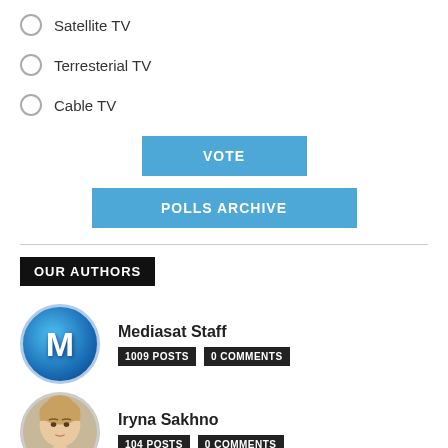Satellite TV
Terresterial TV
Cable TV
VOTE
POLLS ARCHIVE
OUR AUTHORS
Mediasat Staff
1009 POSTS   0 COMMENTS
Iryna Sakhno
104 POSTS   0 COMMENTS